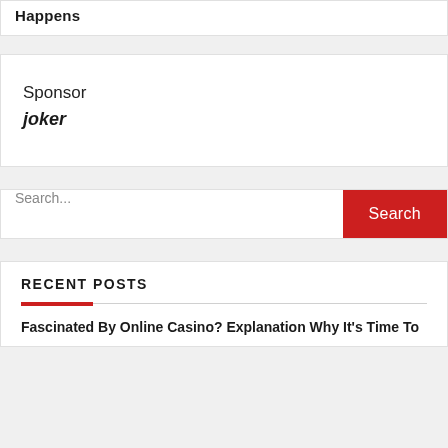Happens
Sponsor
joker
Search...
RECENT POSTS
Fascinated By Online Casino? Explanation Why It's Time To